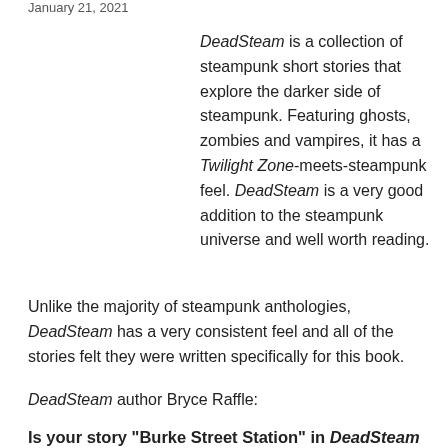January 21, 2021
DeadSteam is a collection of steampunk short stories that explore the darker side of steampunk. Featuring ghosts, zombies and vampires, it has a Twilight Zone-meets-steampunk feel. DeadSteam is a very good addition to the steampunk universe and well worth reading.
Unlike the majority of steampunk anthologies, DeadSteam has a very consistent feel and all of the stories felt they were written specifically for this book.
DeadSteam author Bryce Raffle:
Is your story “Burke Street Station” in DeadSteam a